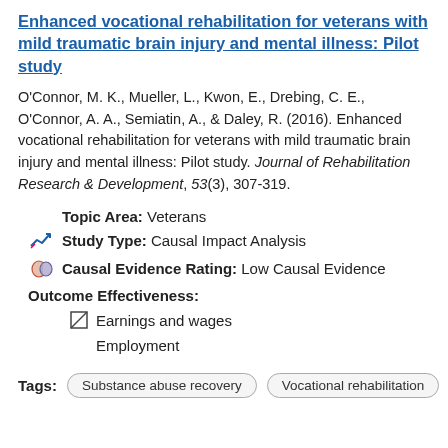Enhanced vocational rehabilitation for veterans with mild traumatic brain injury and mental illness: Pilot study
O'Connor, M. K., Mueller, L., Kwon, E., Drebing, C. E., O'Connor, A. A., Semiatin, A., & Daley, R. (2016). Enhanced vocational rehabilitation for veterans with mild traumatic brain injury and mental illness: Pilot study. Journal of Rehabilitation Research & Development, 53(3), 307-319.
Topic Area: Veterans
Study Type: Causal Impact Analysis
Causal Evidence Rating: Low Causal Evidence
Outcome Effectiveness:
Earnings and wages
Employment
Tags: Substance abuse recovery, Vocational rehabilitation